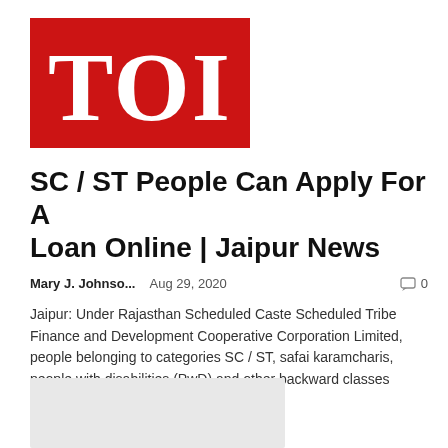[Figure (logo): Times of India (TOI) logo — white letters 'TOI' on red background]
SC / ST People Can Apply For A Loan Online | Jaipur News
Mary J. Johnso...    Aug 29, 2020    💬 0
Jaipur: Under Rajasthan Scheduled Caste Scheduled Tribe Finance and Development Cooperative Corporation Limited, people belonging to categories SC / ST, safai karamcharis, people with disabilities (PwD) and other backward classes (OBC) can...
[Figure (other): Light grey image placeholder rectangle]